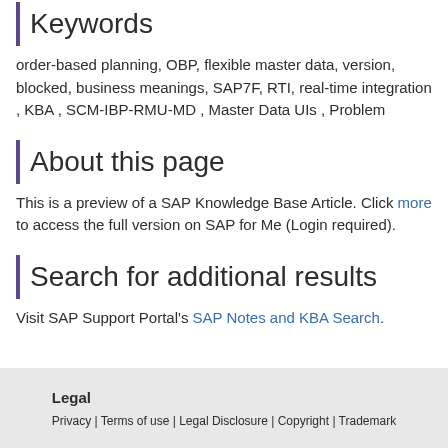Keywords
order-based planning, OBP, flexible master data, version, blocked, business meanings, SAP7F, RTI, real-time integration , KBA , SCM-IBP-RMU-MD , Master Data UIs , Problem
About this page
This is a preview of a SAP Knowledge Base Article. Click more to access the full version on SAP for Me (Login required).
Search for additional results
Visit SAP Support Portal's SAP Notes and KBA Search.
Legal
Privacy | Terms of use | Legal Disclosure | Copyright | Trademark